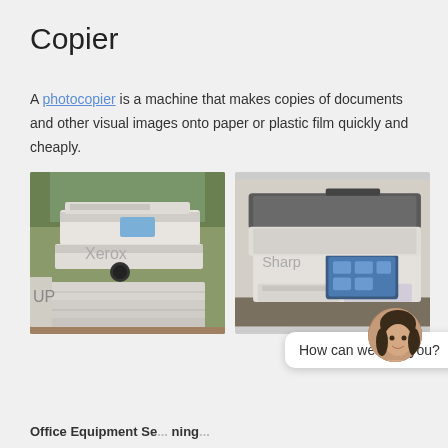Copier
A photocopier is a machine that makes copies of documents and other visual images onto paper or plastic film quickly and cheaply.
[Figure (photo): Two photos of photocopiers side by side. Left: a white Xerox-style standalone photocopier unit with multiple paper trays, in a room with plants. Right: a modern white multifunction copier/printer with a touchscreen display panel, in an office setting.]
[Figure (screenshot): Chat widget overlay with a speech bubble saying 'How can we help you?' and a notification badge showing '1', with a female avatar photo, and a close (x) button.]
Office Equipment Se... ning...